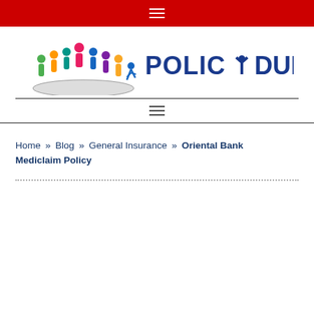≡ (hamburger menu, red bar)
[Figure (logo): Policydunia.com logo with colorful people graphic and blue text POLICYDUNIA.COM]
Home » Blog » General Insurance » Oriental Bank Mediclaim Policy